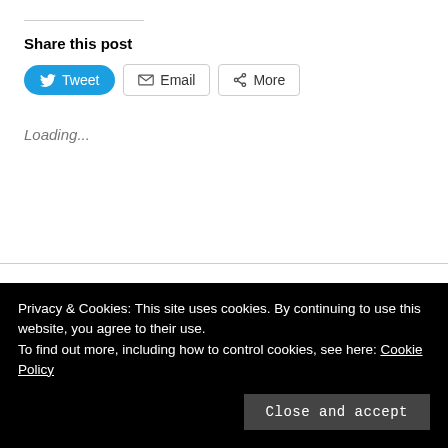Share this post
Loading...
“Gamusinos” by Oswaldo
ON 24 JANUARY 2022 / BY ANGELA PORTER
Privacy & Cookies: This site uses cookies. By continuing to use this website, you agree to their use. To find out more, including how to control cookies, see here: Cookie Policy
Close and accept